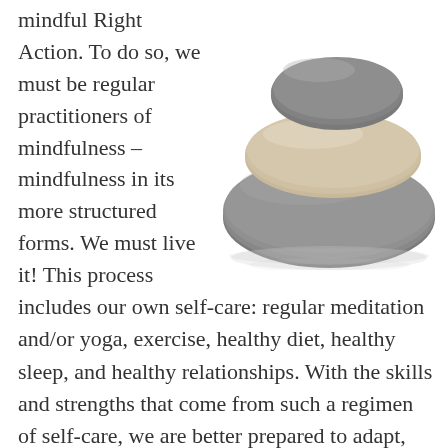mindful Right Action. To do so, we must be regular practitioners of mindfulness – mindfulness in its more structured forms. We must live it! This process
[Figure (photo): Three smooth stacked stones/pebbles balanced on top of each other. The bottom stone is large and dark grey, the middle stone is medium-sized and beige/cream colored, and the top stone is smaller and dark grey. The stones are stacked on a white background with a subtle reflection visible below.]
includes our own self-care: regular meditation and/or yoga, exercise, healthy diet, healthy sleep, and healthy relationships. With the skills and strengths that come from such a regimen of self-care, we are better prepared to adapt, cope, and respond well to emotionally challenging causes, conditions, and situations.  Be strong in your contemplative mindfulness; find and use your personal inner strengths; and, follow your deep values as well as